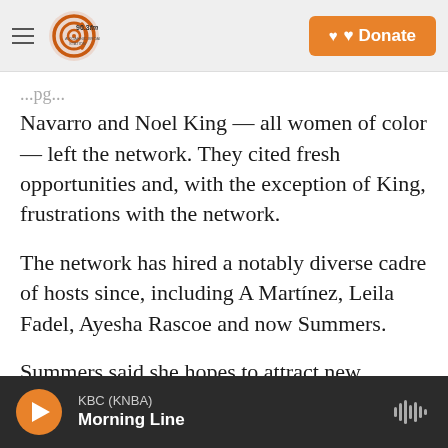90.3fm KNBA — A Koahnic Broadcast Station | Donate
Navarro and Noel King — all women of color — left the network. They cited fresh opportunities and, with the exception of King, frustrations with the network.
The network has hired a notably diverse cadre of hosts since, including A Martínez, Leila Fadel, Ayesha Rascoe and now Summers.
Summers said she hopes to attract new audiences to NPR by sharing the voices of people whose perspectives may be missing on the air. She pointed to her reporting on Gen Z Republicans
KBC (KNBA) Morning Line